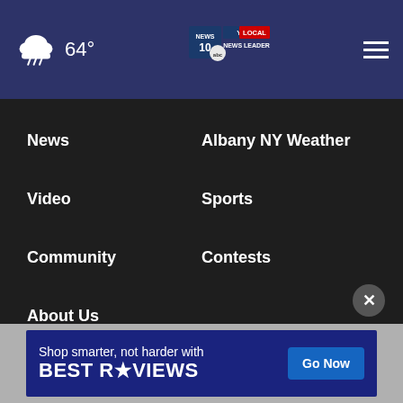64° NEWS 10 YOUR LOCAL NEWS LEADER
News
Albany NY Weather
Video
Sports
Community
Contests
About Us
About Our Ads
WTEN FCC Public File
WXXA FCC Public File
EEO Report
WTEN C...ng
[Figure (screenshot): BestReviews advertisement banner: 'Shop smarter, not harder with BESTREVIEWS — Go Now']